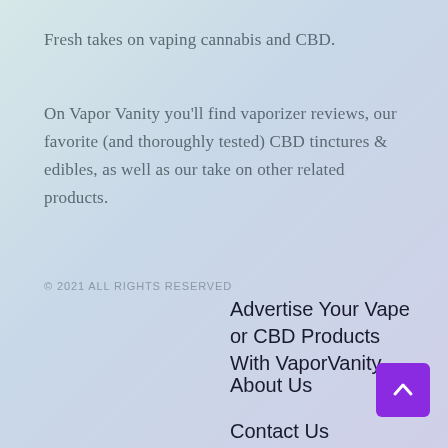Fresh takes on vaping cannabis and CBD.
On Vapor Vanity you'll find vaporizer reviews, our favorite (and thoroughly tested) CBD tinctures & edibles, as well as our take on other related products.
© 2021 ALL RIGHTS RESERVED
Advertise Your Vape or CBD Products With VaporVanity
About Us
Contact Us